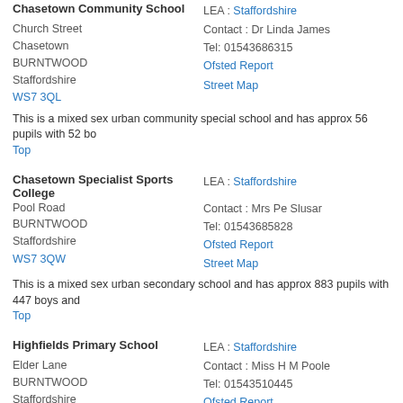Chasetown Community School
Church Street
Chasetown
BURNTWOOD
Staffordshire
WS7 3QL
LEA: Staffordshire
Contact: Dr Linda James
Tel: 01543686315
Ofsted Report
Street Map
This is a mixed sex urban community special school and has approx 56 pupils with 52 bo…
Top
Chasetown Specialist Sports College
Pool Road
BURNTWOOD
Staffordshire
WS7 3QW
LEA: Staffordshire
Contact: Mrs Pe Slusar
Tel: 01543685828
Ofsted Report
Street Map
This is a mixed sex urban secondary school and has approx 883 pupils with 447 boys and…
Top
Highfields Primary School
Elder Lane
BURNTWOOD
Staffordshire
WS7 9BT
LEA: Staffordshire
Contact: Miss H M Poole
Tel: 01543510445
Ofsted Report
Street Map